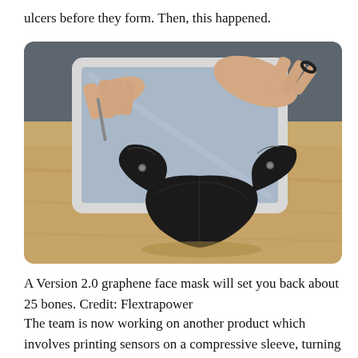ulcers before they form. Then, this happened.
[Figure (photo): A black graphene face mask lying on a wooden table in front of a person using a tablet device. The mask is flat and triangular with elastic straps.]
A Version 2.0 graphene face mask will set you back about 25 bones. Credit: Flextrapower
The team is now working on another product which involves printing sensors on a compressive sleeve, turning an ordinary t-shirt into a powerful tool for capturing